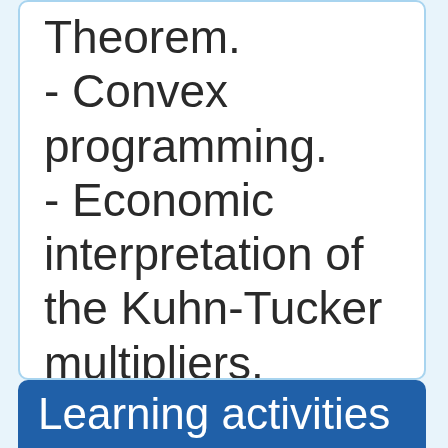Theorem.
- Convex programming.
- Economic interpretation of the Kuhn-Tucker multipliers.
Learning activities